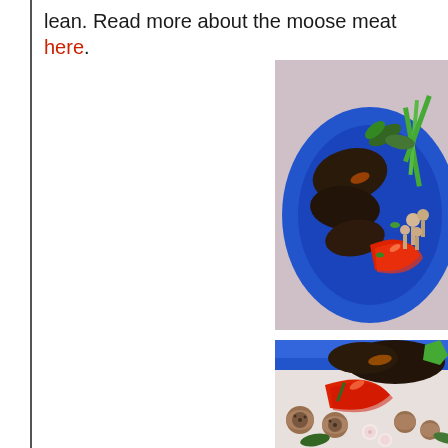lean. Read more about the moose meat here.
[Figure (photo): Top-down view of a blue plate with cooked moose meat steaks, red bell pepper slices, sautéed mushrooms, green onions, and other vegetables]
[Figure (photo): Close-up of blue plate with moose meat, red bell pepper slices, sautéed mushrooms, radishes, and leafy greens]